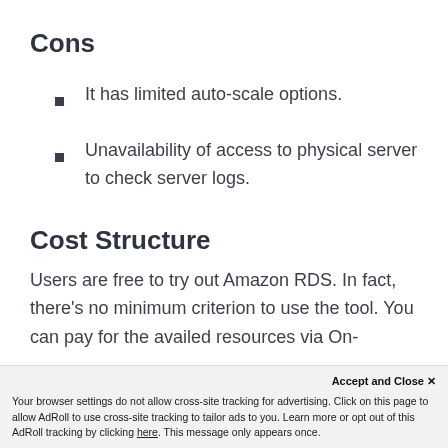Cons
It has limited auto-scale options.
Unavailability of access to physical server to check server logs.
Cost Structure
Users are free to try out Amazon RDS. In fact, there's no minimum criterion to use the tool. You can pay for the availed resources via On-Demand pricing, Reserved Instances, and more.
Accept and Close ✕
Your browser settings do not allow cross-site tracking for advertising. Click on this page to allow AdRoll to use cross-site tracking to tailor ads to you. Learn more or opt out of this AdRoll tracking by clicking here. This message only appears once.